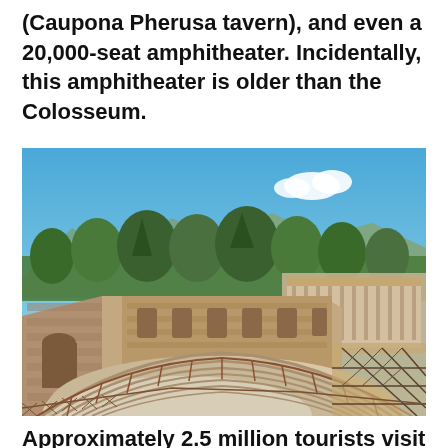(Caupona Pherusa tavern), and even a 20,000-seat amphitheater. Incidentally, this amphitheater is older than the Colosseum.
[Figure (photo): Aerial view of the ancient Roman amphitheater ruins at Pompeii, showing the semicircular seating area, the stage/orchestra area, surrounding stone walls, green trees in the background, and blue sky with a white cloud.]
Approximately 2.5 million tourists visit the